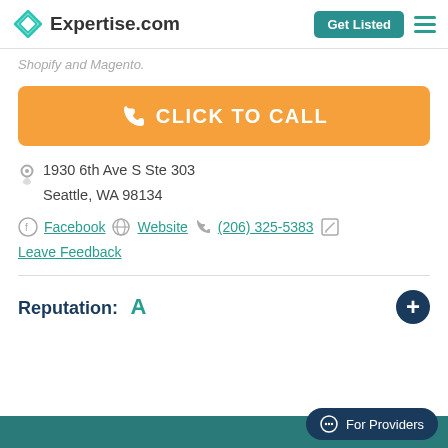Expertise.com | Get Listed
Shopify and Magento.
CLICK TO CALL
1930 6th Ave S Ste 303
Seattle, WA 98134
Facebook | Website | (206) 325-5383 | Leave Feedback
Reputation: A
For Providers